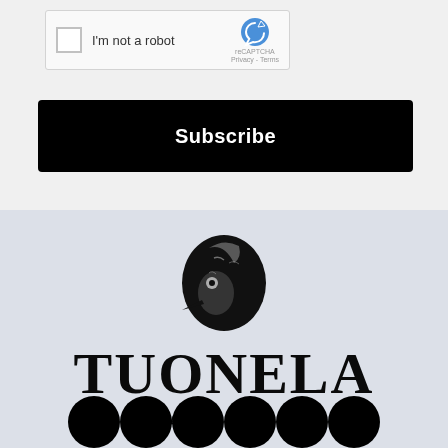[Figure (screenshot): reCAPTCHA widget with checkbox labeled I'm not a robot and the reCAPTCHA logo with Privacy and Terms links]
Subscribe
[Figure (logo): Tuonela Magazine logo with a woodpecker bird illustration above stylized gothic text TUONELA and below it MAGAZINE, with social media circle icons at bottom]